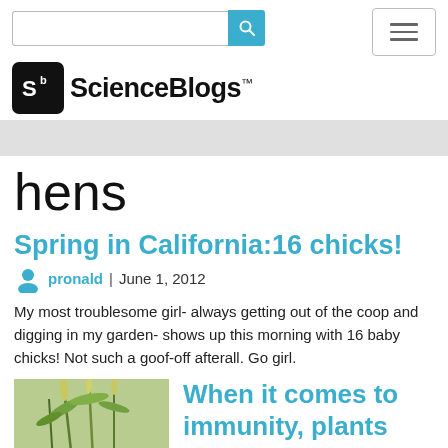[Figure (screenshot): ScienceBlogs website header with search bar, hamburger menu, and ScienceBlogs logo]
hens
Spring in California:16 chicks!
pronald | June 1, 2012
My most troublesome girl- always getting out of the coop and digging in my garden- shows up this morning with 16 baby chicks! Not such a goof-off afterall. Go girl.
When it comes to immunity, plants
[Figure (photo): Plant/crop image thumbnail on the left side of the second article]